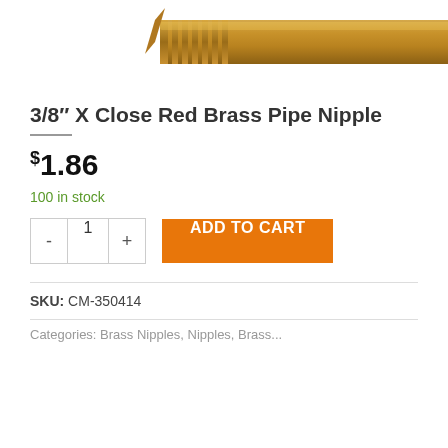[Figure (photo): A brass pipe nipple with threaded ends shown in close-up at the top of the page]
3/8″ X Close Red Brass Pipe Nipple
$1.86
100 in stock
ADD TO CART
SKU: CM-350414
Categories: Brass Nipples, Nipples, Brass...